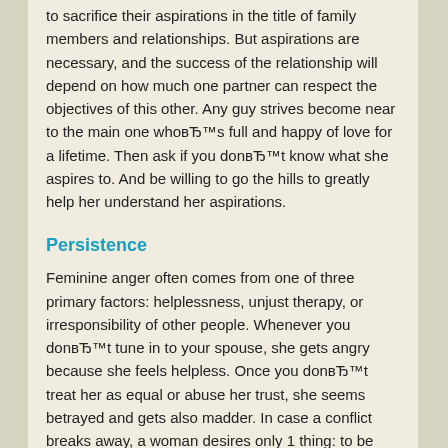to sacrifice their aspirations in the title of family members and relationships. But aspirations are necessary, and the success of the relationship will depend on how much one partner can respect the objectives of this other. Any guy strives become near to the main one whoвЂ™s full and happy of love for a lifetime. Then ask if you donвЂ™t know what she aspires to. And be willing to go the hills to greatly help her understand her aspirations.
Persistence
Feminine anger often comes from one of three primary factors: helplessness, unjust therapy, or irresponsibility of other people. Whenever you donвЂ™t tune in to your spouse, she gets angry because she feels helpless. Once you donвЂ™t treat her as equal or abuse her trust, she seems betrayed and gets also madder. In case a conflict breaks away, a woman desires only 1 thing: to be paid attention to. Her task is always to